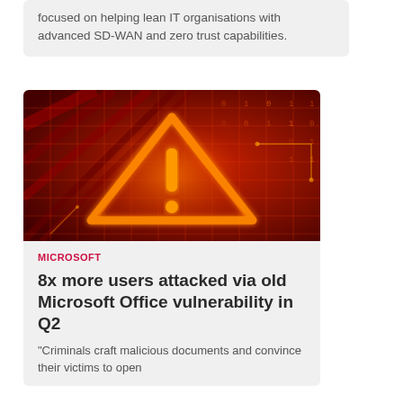focused on helping lean IT organisations with advanced SD-WAN and zero trust capabilities.
[Figure (photo): Cybersecurity warning image showing a glowing orange/red warning triangle with exclamation mark over a dark red digital grid background with binary numbers]
MICROSOFT
8x more users attacked via old Microsoft Office vulnerability in Q2
"Criminals craft malicious documents and convince their victims to open